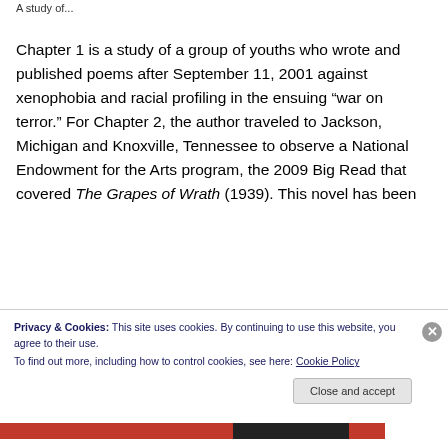A study of...
Chapter 1 is a study of a group of youths who wrote and published poems after September 11, 2001 against xenophobia and racial profiling in the ensuing “war on terror.” For Chapter 2, the author traveled to Jackson, Michigan and Knoxville, Tennessee to observe a National Endowment for the Arts program, the 2009 Big Read that covered The Grapes of Wrath (1939). This novel has been
Privacy & Cookies: This site uses cookies. By continuing to use this website, you agree to their use.
To find out more, including how to control cookies, see here: Cookie Policy
Close and accept